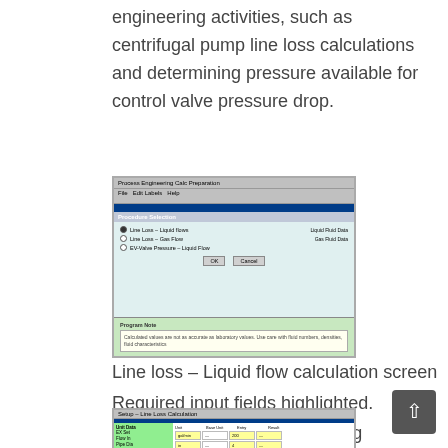engineering activities, such as centrifugal pump line loss calculations and determining pressure available for control valve pressure drop.
[Figure (screenshot): Line loss calculation software dialog box showing radio button options for calculation type, with a notes section at the bottom.]
Line loss – Liquid flow calculation screen
Required input fields highlighted.
Change setup option for setting units, selecting fluid density options (density or specific gravity)
[Figure (screenshot): Setup options screen for line loss calculation showing unit settings and fluid density options in a spreadsheet-style grid with yellow and green highlighted cells.]